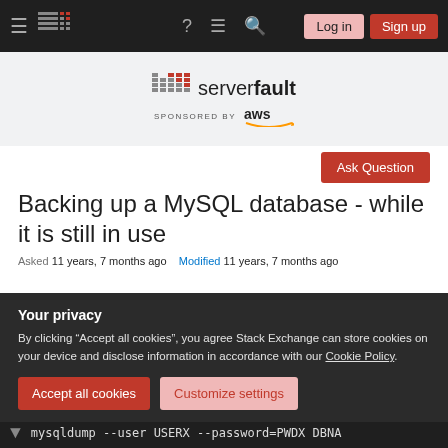Server Fault navigation bar with Log in and Sign up buttons
[Figure (logo): Server Fault logo with 'serverfault' text and AWS sponsored by banner]
Ask Question
Backing up a MySQL database - while it is still in use
Asked 11 years, 7 months ago   Modified 11 years, 7 months ago
Your privacy
By clicking "Accept all cookies", you agree Stack Exchange can store cookies on your device and disclose information in accordance with our Cookie Policy.
Accept all cookies   Customize settings
mysqldump --user USERX --password=PWDX DBNA